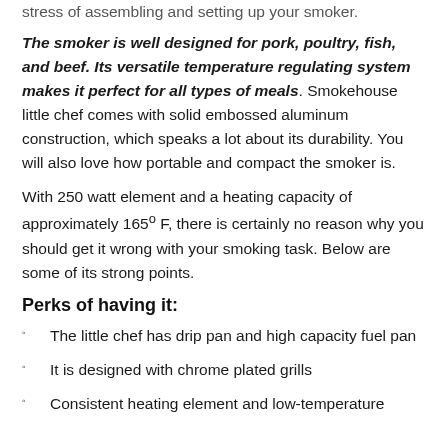stress of assembling and setting up your smoker.
The smoker is well designed for pork, poultry, fish, and beef. Its versatile temperature regulating system makes it perfect for all types of meals. Smokehouse little chef comes with solid embossed aluminum construction, which speaks a lot about its durability. You will also love how portable and compact the smoker is.
With 250 watt element and a heating capacity of approximately 165° F, there is certainly no reason why you should get it wrong with your smoking task. Below are some of its strong points.
Perks of having it:
The little chef has drip pan and high capacity fuel pan
It is designed with chrome plated grills
Consistent heating element and low-temperature